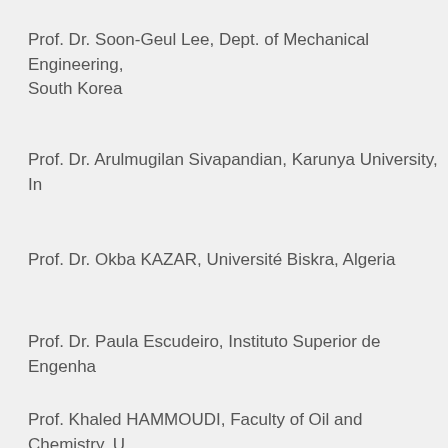Prof. Dr. Soon-Geul Lee, Dept. of Mechanical Engineering, South Korea
Prof. Dr. Arulmugilan Sivapandian, Karunya University, In…
Prof. Dr. Okba KAZAR, Université Biskra, Algeria
Prof. Dr. Paula Escudeiro, Instituto Superior de Engenha…
Prof. Khaled HAMMOUDI, Faculty of Oil and Chemistry, U… Algeria